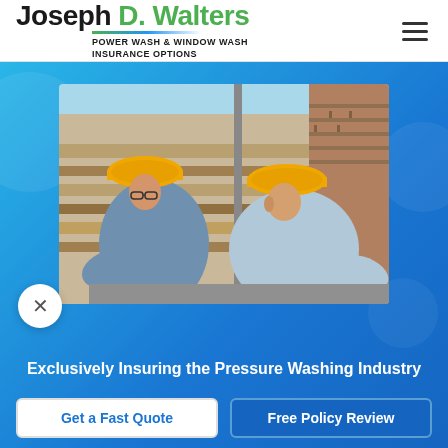Joseph D. Walters POWER WASH & WINDOW WASH INSURANCE OPTIONS
[Figure (photo): Two construction workers wearing yellow hard hats bent over working on a construction site with wooden scaffolding and a brick wall in the background.]
Exclusively Insuring the Pressure Washing Industry
Get a Fast Quote
Free Policy Review